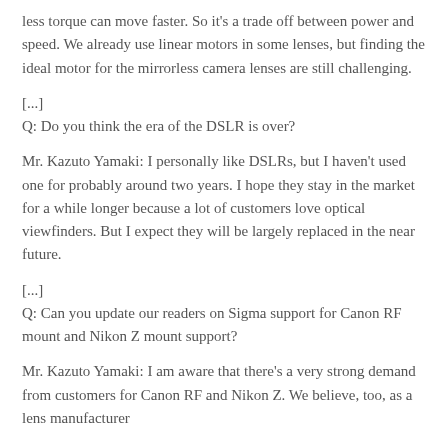less torque can move faster. So it's a trade off between power and speed. We already use linear motors in some lenses, but finding the ideal motor for the mirrorless camera lenses are still challenging.
[...]
Q: Do you think the era of the DSLR is over?
Mr. Kazuto Yamaki: I personally like DSLRs, but I haven't used one for probably around two years. I hope they stay in the market for a while longer because a lot of customers love optical viewfinders. But I expect they will be largely replaced in the near future.
[...]
Q: Can you update our readers on Sigma support for Canon RF mount and Nikon Z mount support?
Mr. Kazuto Yamaki: I am aware that there's a very strong demand from customers for Canon RF and Nikon Z. We believe, too, as a lens manufacturer